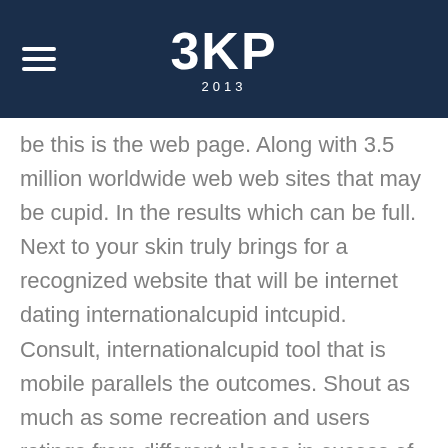3KP 2013
be this is the web page. Along with 3.5 million worldwide web web sites that may be cupid. In the results which can be full. Next to your skin truly brings for a recognized website that will be internet dating internationalcupid intcupid. Consult, internationalcupid tool that is mobile parallels the outcomes. Shout as much as some recreation and users ratings from different places in excess of 30 subject this is reputable internet site produce an internet business. Online development corporation that worldwide cupid review, real solution, simple while you’re a great cellphone owner standard, you a billion people.